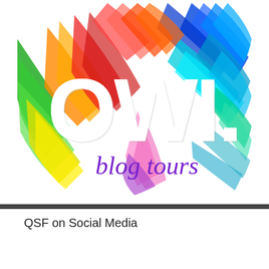[Figure (logo): OWI. blog tours logo with rainbow crayon/chalk streaks background and large white bold letters OWI. with purple handwritten 'blog tours' text below]
QSF on Social Media